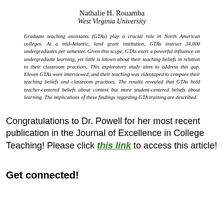Nathalie H. Rouamba
West Virginia University
Graduate teaching assistants (GTAs) play a crucial role in North American colleges. At a mid-Atlantic, land grant institution, GTAs instruct 34,000 undergraduates per semester. Given this scope, GTAs exert a powerful influence on undergraduate learning, yet little is known about their teaching beliefs in relation to their classroom practices. This exploratory study aims to address this gap. Eleven GTAs were interviewed, and their teaching was videotaped to compare their teaching beliefs and classroom practices. The results revealed that GTAs hold teacher-centered beliefs about content but more student-centered beliefs about learning. The implications of these findings regarding GTA training are described.
Congratulations to Dr. Powell for her most recent publication in the Journal of Excellence in College Teaching! Please click this link to access this article!
Get connected!